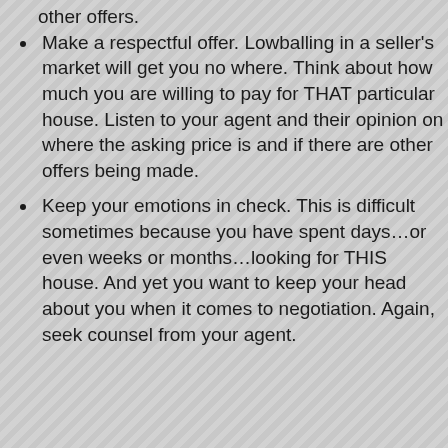other offers. (partial, top of page)
Make a respectful offer. Lowballing in a seller's market will get you no where. Think about how much you are willing to pay for THAT particular house. Listen to your agent and their opinion on where the asking price is and if there are other offers being made.
Keep your emotions in check. This is difficult sometimes because you have spent days…or even weeks or months…looking for THIS house. And yet you want to keep your head about you when it comes to negotiation. Again, seek counsel from your agent.